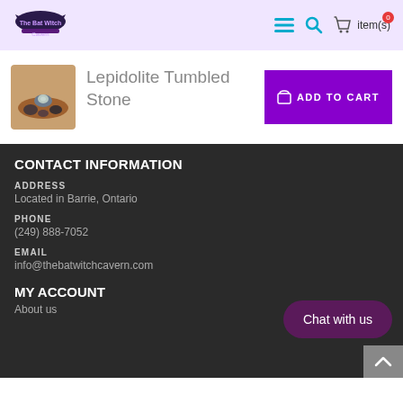The Bat Witch Cavern — navigation with hamburger, search, cart icons
Lepidolite Tumbled Stone
ADD TO CART
CONTACT INFORMATION
ADDRESS
Located in Barrie, Ontario
PHONE
(249) 888-7052
EMAIL
info@thebatwitchcavern.com
MY ACCOUNT
About us
Chat with us